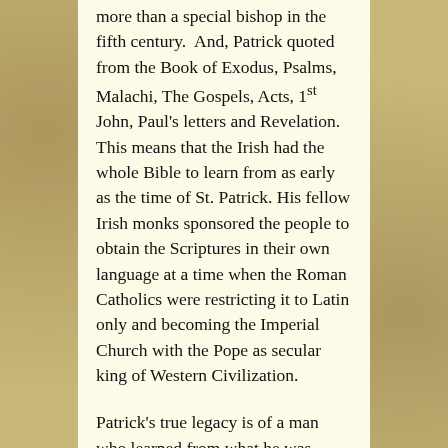more than a special bishop in the fifth century. And, Patrick quoted from the Book of Exodus, Psalms, Malachi, The Gospels, Acts, 1st John, Paul's letters and Revelation. This means that the Irish had the whole Bible to learn from as early as the time of St. Patrick. His fellow Irish monks sponsored the people to obtain the Scriptures in their own language at a time when the Roman Catholics were restricting it to Latin only and becoming the Imperial Church with the Pope as secular king of Western Civilization.
Patrick's true legacy is of a man who learned from what he was slaved to, was patient through the years with clergy who berated him as a “rustic” and answered the call to further the Kingdom of God in spite of the fact that he could have had a comfortable life cloistered in monasteries. What can we learn